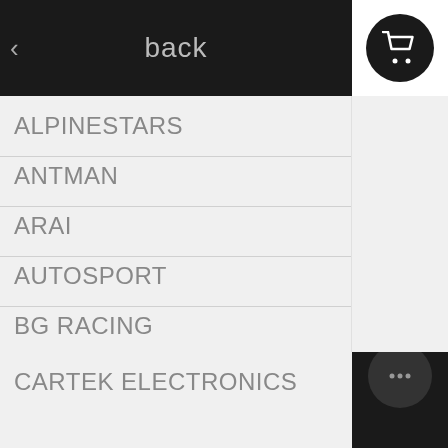back
ALPINESTARS
ANTMAN
ARAI
AUTOSPORT
BG RACING
BELL
BILSTEIN
CARTEK ELECTRONICS